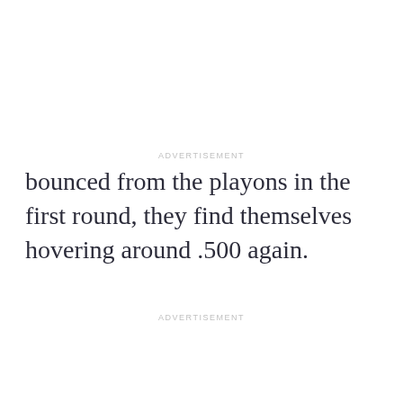ADVERTISEMENT
bounced from the playons in the first round, they find themselves hovering around .500 again.
ADVERTISEMENT